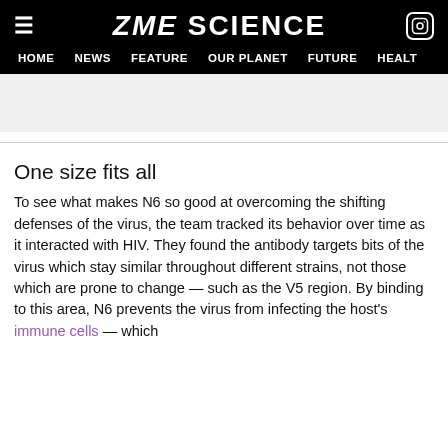ZME SCIENCE — HOME | NEWS | FEATURE | OUR PLANET | FUTURE | HEALTH
One size fits all
To see what makes N6 so good at overcoming the shifting defenses of the virus, the team tracked its behavior over time as it interacted with HIV. They found the antibody targets bits of the virus which stay similar throughout different strains, not those which are prone to change — such as the V5 region. By binding to this area, N6 prevents the virus from infecting the host's immune cells — which